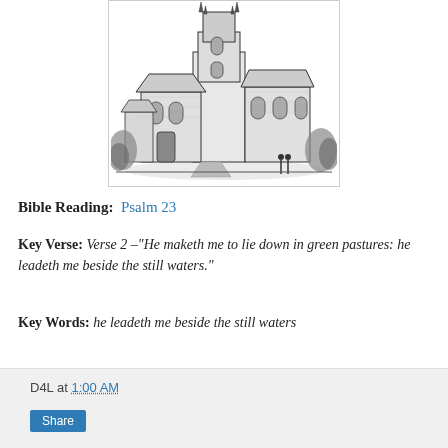[Figure (illustration): Black and white pen-and-ink drawing of a Gothic-style church with tall spires and stained glass windows, surrounded by trees and a path.]
Bible Reading:  Psalm 23
Key Verse: Verse 2 –"He maketh me to lie down in green pastures: he leadeth me beside the still waters."
Key Words: he leadeth me beside the still waters
D4L at 1:00 AM